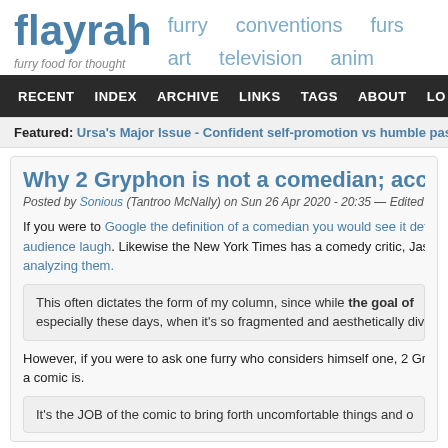flayrah — furry food for thought
furry  conventions  furs  art  television  anim
RECENT  INDEX  ARCHIVE  LINKS  TAGS  ABOUT  LOG
Featured: Ursa's Major Issue - Confident self-promotion vs humble passionat
Why 2 Gryphon is not a comedian; according to 2
Posted by Sonious (Tantroo McNally) on Sun 26 Apr 2020 - 20:35 — Edited as o
If you were to Google the definition of a comedian you would see it def audience laugh. Likewise the New York Times has a comedy critic, Jason analyzing them.
This often dictates the form of my column, since while the goal of especially these days, when it's so fragmented and aesthetically div
However, if you were to ask one furry who considers himself one, 2 Gry a comic is.
It's the JOB of the comic to bring forth uncomfortable things and o